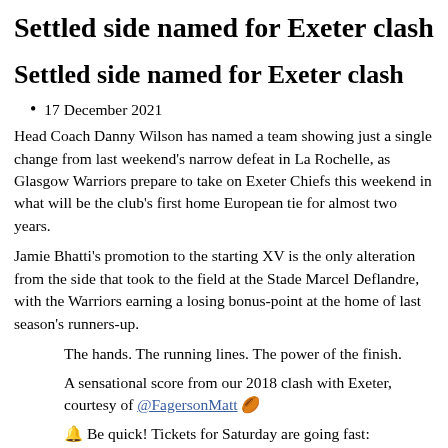Settled side named for Exeter clash
Settled side named for Exeter clash
17 December 2021
Head Coach Danny Wilson has named a team showing just a single change from last weekend’s narrow defeat in La Rochelle, as Glasgow Warriors prepare to take on Exeter Chiefs this weekend in what will be the club’s first home European tie for almost two years.
Jamie Bhatti’s promotion to the starting XV is the only alteration from the side that took to the field at the Stade Marcel Deflandre, with the Warriors earning a losing bonus-point at the home of last season’s runners-up.
The hands. The running lines. The power of the finish.
A sensational score from our 2018 clash with Exeter, courtesy of @FagersonMatt 🏉
🔔 Be quick! Tickets for Saturday are going fast: https://t.co/SnXRfuDs1C pic.twitter.com/39ytqkgILR